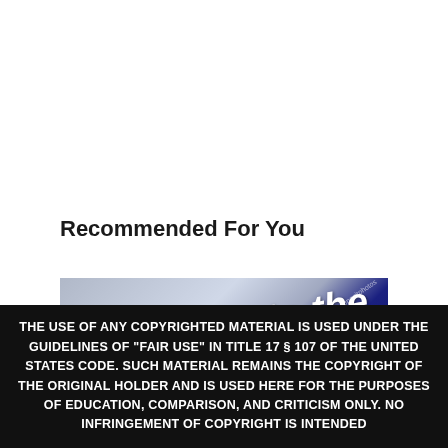Recommended For You
[Figure (photo): A photograph showing what appears to be documents or legal papers with text 'to the' visible on a blue book or folder cover, along with a depositphotos watermark.]
THE USE OF ANY COPYRIGHTED MATERIAL IS USED UNDER THE GUIDELINES OF "FAIR USE" IN TITLE 17 § 107 OF THE UNITED STATES CODE. SUCH MATERIAL REMAINS THE COPYRIGHT OF THE ORIGINAL HOLDER AND IS USED HERE FOR THE PURPOSES OF EDUCATION, COMPARISON, AND CRITICISM ONLY. NO INFRINGEMENT OF COPYRIGHT IS INTENDED